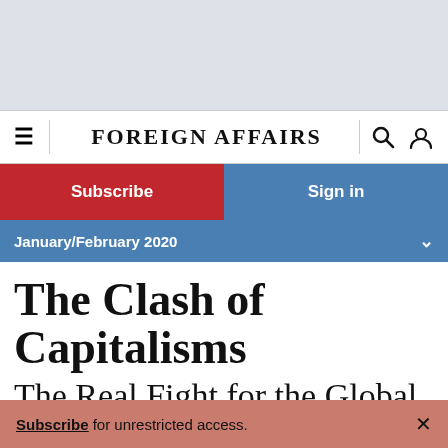FOREIGN AFFAIRS
Subscribe
Sign in
January/February 2020
The Clash of Capitalisms
The Real Fight for the Global Economy's Future
Subscribe for unrestricted access.